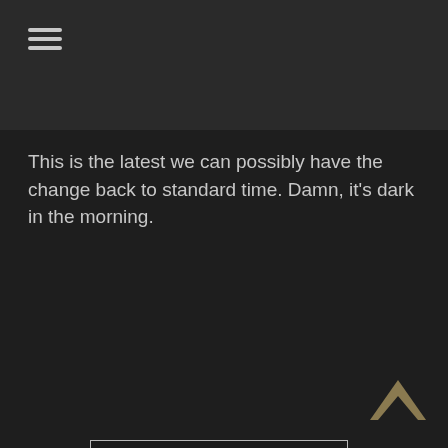≡ (hamburger menu icon)
This is the latest we can possibly have the change back to standard time. Damn, it's dark in the morning.
Read more
[Figure (other): Broken image placeholder shown as a small thumbnail icon inside a rectangular outlined box]
[Figure (other): Back to top chevron/caret arrow icon in dark gold/tan color at bottom right]